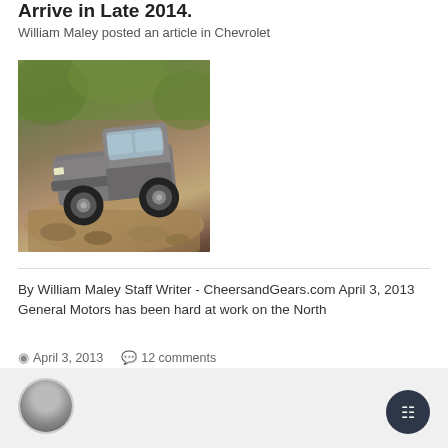Arrive in Late 2014.
William Maley posted an article in Chevrolet
[Figure (photo): A gray/silver Chevrolet Colorado pickup truck driving over rocky off-road terrain with green foliage in the background]
By William Maley Staff Writer - CheersandGears.com April 3, 2013 General Motors has been hard at work on the North
April 3, 2013   12 comments
Chevrolet   Colorado   (and 4 more)